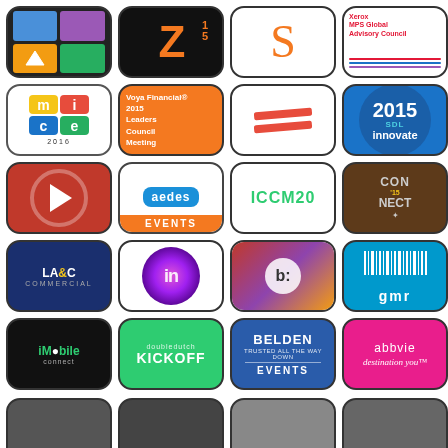[Figure (infographic): Grid of 20+ mobile app icons including: app with colored tiles, Z15, S-curve orange, Xerox MPS Global Advisory Council, MICE 2016, Voya Financial 2015 Leaders Council Meeting, two red lines logo, 2015 SDL innovate, red circle play button, aedes EVENTS, ICCM20, CON'15 NECT, LA&C Commercial, LinkedIn in gear, b: photo app, gmr barcode, iMobile connect, doubledutch KICKOFF, BELDEN EVENTS, abbvie destination you, and partial row at bottom]